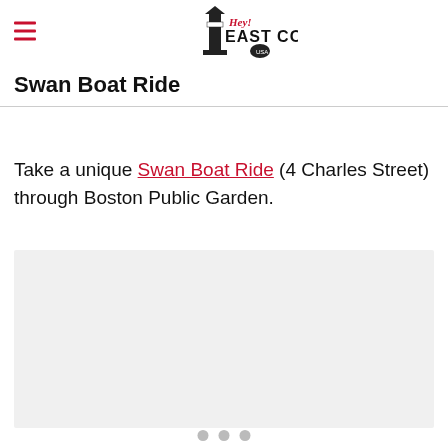Hey! East Coast
Swan Boat Ride
Take a unique Swan Boat Ride (4 Charles Street) through Boston Public Garden.
[Figure (photo): Image carousel placeholder showing a Swan Boat Ride scene with three navigation dots below]